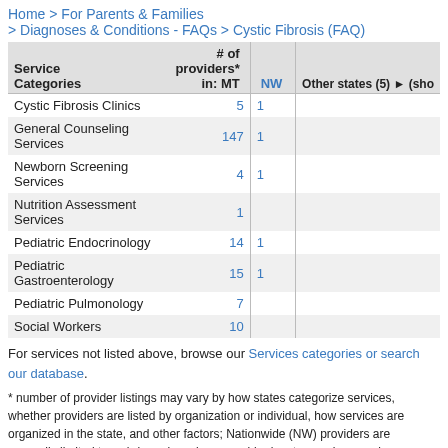Home > For Parents & Families > Diagnoses & Conditions - FAQs > Cystic Fibrosis (FAQ)
| Service Categories | # of providers* in: MT | NW | Other states (5) |
| --- | --- | --- | --- |
| Cystic Fibrosis Clinics | 5 | 1 |  |
| General Counseling Services | 147 | 1 |  |
| Newborn Screening Services | 4 | 1 |  |
| Nutrition Assessment Services | 1 |  |  |
| Pediatric Endocrinology | 14 | 1 |  |
| Pediatric Gastroenterology | 15 | 1 |  |
| Pediatric Pulmonology | 7 |  |  |
| Social Workers | 10 |  |  |
For services not listed above, browse our Services categories or search our database.
* number of provider listings may vary by how states categorize services, whether providers are listed by organization or individual, how services are organized in the state, and other factors; Nationwide (NW) providers are generally limited to web-based services, provider locator services, and organizations that serve children from across the nation.